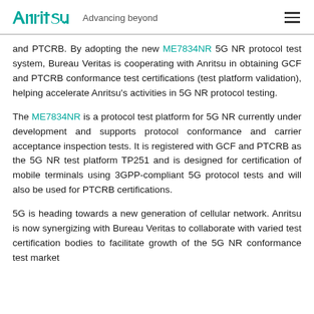Anritsu — Advancing beyond
and PTCRB. By adopting the new ME7834NR 5G NR protocol test system, Bureau Veritas is cooperating with Anritsu in obtaining GCF and PTCRB conformance test certifications (test platform validation), helping accelerate Anritsu's activities in 5G NR protocol testing.
The ME7834NR is a protocol test platform for 5G NR currently under development and supports protocol conformance and carrier acceptance inspection tests. It is registered with GCF and PTCRB as the 5G NR test platform TP251 and is designed for certification of mobile terminals using 3GPP-compliant 5G protocol tests and will also be used for PTCRB certifications.
5G is heading towards a new generation of cellular network. Anritsu is now synergizing with Bureau Veritas to collaborate with varied test certification bodies to facilitate growth of the 5G NR conformance test market